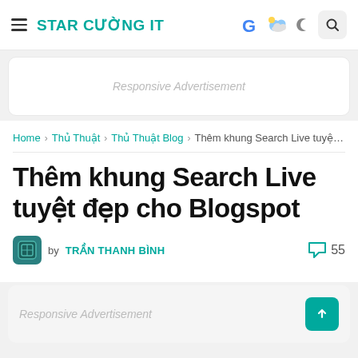STAR CƯỜNG IT
[Figure (screenshot): Top navigation bar with hamburger menu, site title STAR CƯỜNG IT, and icons: Google G, weather cloud/sun, moon crescent, search button]
[Figure (other): Responsive Advertisement banner placeholder]
Home > Thủ Thuật > Thủ Thuật Blog > Thêm khung Search Live tuyệ đẹ...
Thêm khung Search Live tuyệt đẹp cho Blogspot
by TRẦN THANH BÌNH  55
[Figure (other): Responsive Advertisement banner placeholder at bottom with scroll-to-top button]